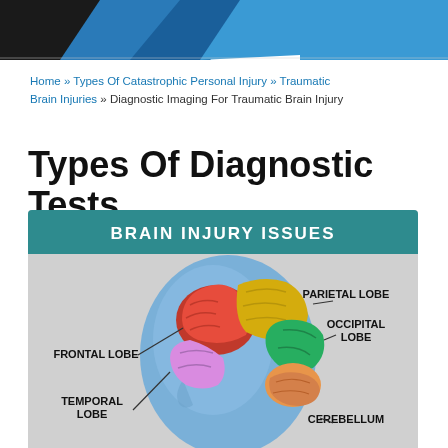Home » Types Of Catastrophic Personal Injury » Traumatic Brain Injuries » Diagnostic Imaging For Traumatic Brain Injury
Types Of Diagnostic Tests
[Figure (illustration): Brain anatomy diagram labeled 'BRAIN INJURY ISSUES' showing a side-profile human head with colored brain regions: Frontal Lobe (red/pink, left front), Parietal Lobe (yellow/gold, top right), Occipital Lobe (green, right), Temporal Lobe (pink/purple, lower left), and Cerebellum (lower right). The head is rendered in blue with a realistic 3D brain illustration inside.]